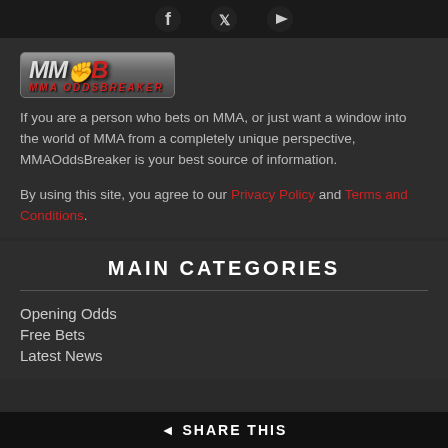[Figure (logo): Social media icons (Facebook, Twitter, YouTube) on dark bar]
[Figure (logo): MMA OddsBreaker logo with fist icon and red text]
If you are a person who bets on MMA, or just want a window into the world of MMA from a completely unique perspective, MMAOddsBreaker is your best source of information.
By using this site, you agree to our Privacy Policy and Terms and Conditions.
MAIN CATEGORIES
Opening Odds
Free Bets
Latest News
SHARE THIS